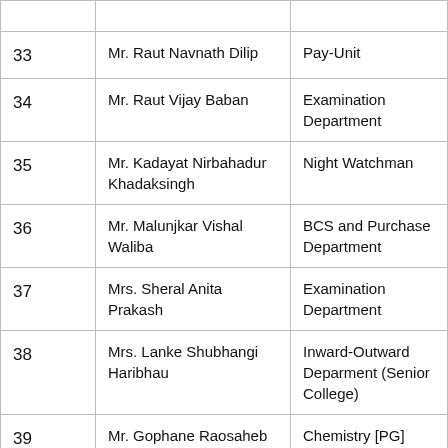| No. | Name | Department |
| --- | --- | --- |
| 33 | Mr. Raut Navnath Dilip | Pay-Unit |
| 34 | Mr. Raut Vijay Baban | Examination Department |
| 35 | Mr. Kadayat Nirbahadur Khadaksingh | Night Watchman |
| 36 | Mr. Malunjkar Vishal Waliba | BCS and Purchase Department |
| 37 | Mrs. Sheral Anita Prakash | Examination Department |
| 38 | Mrs. Lanke Shubhangi Haribhau | Inward-Outward Deparment (Senior College) |
| 39 | Mr. Gophane Raosaheb | Chemistry [PG] Department |